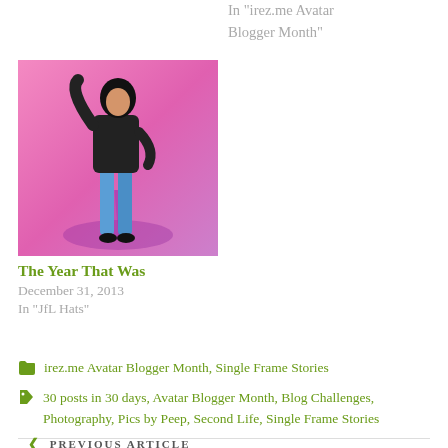In "irez.me Avatar Blogger Month"
[Figure (illustration): Avatar figure in black top and blue jeans against pink/purple background]
The Year That Was
December 31, 2013
In "JfL Hats"
irez.me Avatar Blogger Month, Single Frame Stories
30 posts in 30 days, Avatar Blogger Month, Blog Challenges, Photography, Pics by Peep, Second Life, Single Frame Stories
PREVIOUS ARTICLE
Like Herding Cats